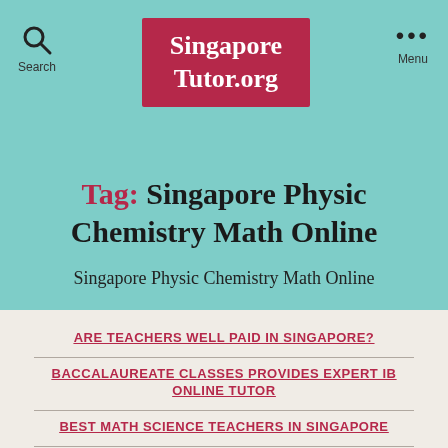SingaporeTutor.org
Tag: Singapore Physic Chemistry Math Online
Singapore Physic Chemistry Math Online
ARE TEACHERS WELL PAID IN SINGAPORE?
BACCALAUREATE CLASSES PROVIDES EXPERT IB ONLINE TUTOR
BEST MATH SCIENCE TEACHERS IN SINGAPORE
CHEAPEST HOMESCHOOL PHILIPPINES
CHEMISTRY PHYSICS MATHS TUTOR SENTOSA